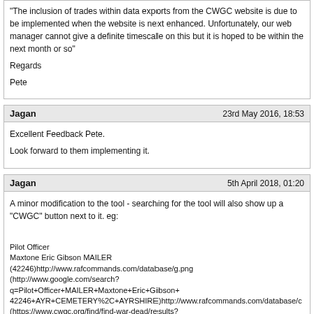"The inclusion of trades within data exports from the CWGC website is due to be implemented when the website is next enhanced. Unfortunately, our web manager cannot give a definite timescale on this but it is hoped to be within the next month or so"

Regards

Pete
Jagan
23rd May 2016, 18:53
Excellent Feedback Pete.
Look forward to them implementing it.
Jagan
5th April 2018, 01:20
A minor modification to the tool - searching for the tool will also show up a "CWGC" button next to it. eg:

Pilot Officer
Maxtone Eric Gibson MAILER
(42246)http://www.rafcommands.com/database/g.png
(http://www.google.com/search?q=Pilot+Officer+MAILER+Maxtone+Eric+Gibson+42246+AYR+CEMETERY%2C+AYRSHIRE)http://www.rafcommands.com/database/c
(https://www.cwgc.org/find/find-war-dead/results?lastName=MAILER&serviceNumber=42246&firstName=Maxtone%20Eric%20Gibson&
1939-12-12 (http://www.rafcommands.com/database/wardead/index.php?qname=gibson&qcntry=&cur=0&qunit=&qnum=&qmem=&qdate=1939-12-12)
92 Sqdn (http://www.rafcommands.com/database/wardead/index.php?qname=gibson&qcntry=&cur=0&qunit=92%20Sqdn&qnum=&qmem=&qdate=)
United Kingdom (http://www.rafcommands.com/database/wardead/index.php?qname=gibson&qcntry=United%20Kingdom&cur=0&qunit=&qnum=&qmem=&qdate=)